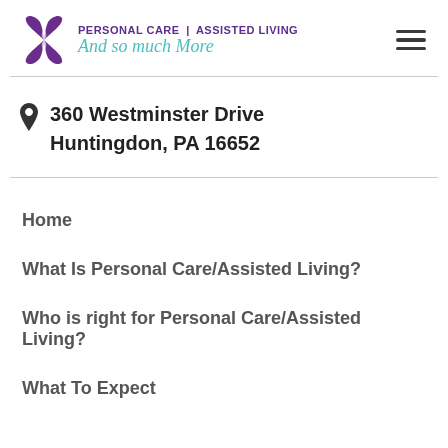[Figure (logo): Purple butterfly/flower logo with text 'PERSONAL CARE | ASSISTED LIVING And so much More' in purple and teal script]
360 Westminster Drive
Huntingdon, PA 16652
Home
What Is Personal Care/Assisted Living?
Who is right for Personal Care/Assisted Living?
What To Expect